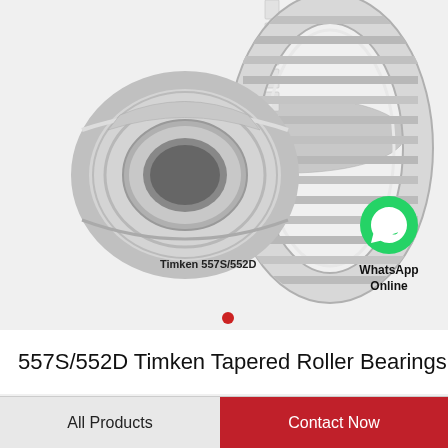[Figure (photo): Timken 557S/552D tapered roller bearing assembly showing two parts: inner ring with cone and outer ring with ribs, photographed on a light gray background. Label reads 'Timken 557S/552D'.]
[Figure (logo): WhatsApp green circle icon with phone handset, with text 'WhatsApp Online' below.]
557S/552D Timken Tapered Roller Bearings
All Products
Contact Now